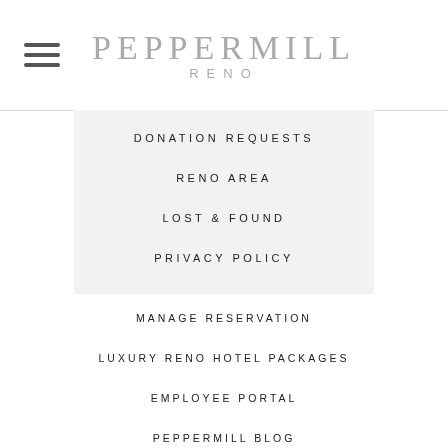PEPPERMILL RENO
DONATION REQUESTS
RENO AREA
LOST & FOUND
PRIVACY POLICY
MANAGE RESERVATION
LUXURY RENO HOTEL PACKAGES
EMPLOYEE PORTAL
PEPPERMILL BLOG